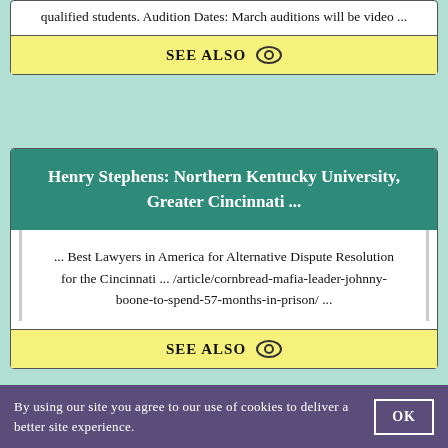qualified students. Audition Dates: March auditions will be video ...
SEE ALSO
Henry Stephens: Northern Kentucky University, Greater Cincinnati ...
... Best Lawyers in America for Alternative Dispute Resolution for the Cincinnati ... /article/cornbread-mafia-leader-johnny-boone-to-spend-57-months-in-prison/ ...
SEE ALSO
By using our site you agree to our use of cookies to deliver a better site experience.